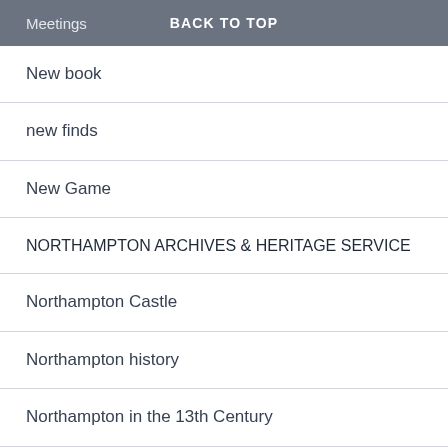Meetings  BACK TO TOP
New book
new finds
New Game
NORTHAMPTON ARCHIVES & HERITAGE SERVICE
Northampton Castle
Northampton history
Northampton in the 13th Century
Northampton in the 14th Century
Northampton in the 15th century